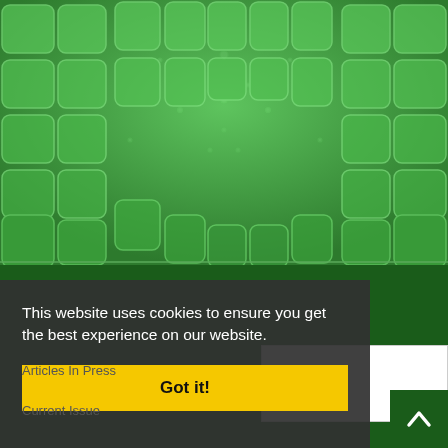[Figure (illustration): Green Islamic geometric/mosaic pattern forming a radial arch or dome shape with lighter green cell-like tessellations on a medium green background]
[Figure (screenshot): Dark green banner section below the patterned image]
This website uses cookies to ensure you get the best experience on our website.
Got it!
Articles In Press
Current Issue